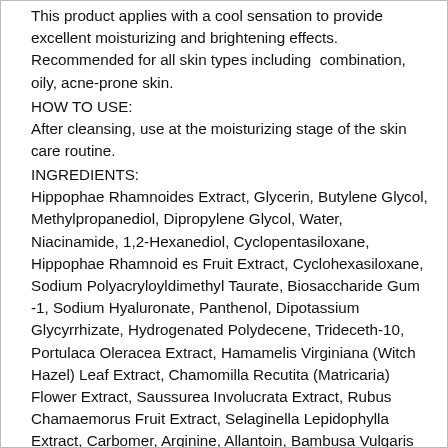This product applies with a cool sensation to provide excellent moisturizing and brightening effects. Recommended for all skin types including combination, oily, acne-prone skin.
HOW TO USE:
After cleansing, use at the moisturizing stage of the skin care routine.
INGREDIENTS:
Hippophae Rhamnoides Extract, Glycerin, Butylene Glycol, Methylpropanediol, Dipropylene Glycol, Water, Niacinamide, 1,2-Hexanediol, Cyclopentasiloxane, Hippophae Rhamnoid es Fruit Extract, Cyclohexasiloxane, Sodium Polyacryloyldimethyl Taurate, Biosaccharide Gum -1, Sodium Hyaluronate, Panthenol, Dipotassium Glycyrrhizate, Hydrogenated Polydecene, Trideceth-10, Portulaca Oleracea Extract, Hamamelis Virginiana (Witch Hazel) Leaf Extract, Chamomilla Recutita (Matricaria) Flower Extract, Saussurea Involucrata Extract, Rubus Chamaemorus Fruit Extract, Selaginella Lepidophylla Extract, Carbomer, Arginine, Allantoin, Bambusa Vulgaris Water, Nelumbo Nucifera Flower Water, Aloe Barbadensis